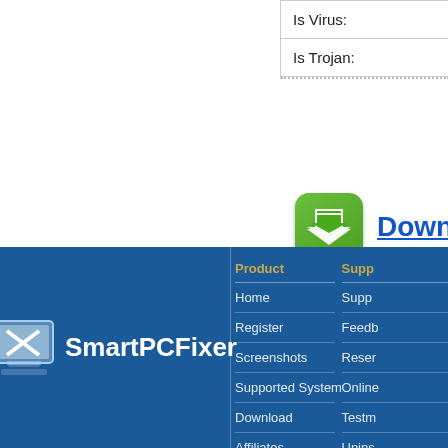| Is Virus: |
| Is Trojan: |
[Figure (logo): Green download button icon with two downward-pointing chevrons]
Download
**SmartPCFixer w
[Figure (logo): SmartPCFixer logo with computer monitor icon and white text]
Product
Home
Register
Screenshots
Supported System
Download
Affiliates
Supp
Supp
Feedb
Reser
Online
Testm
Unins